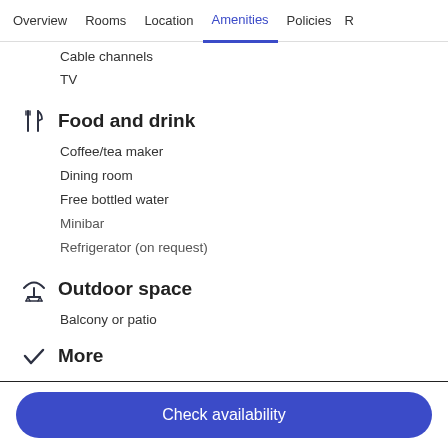Overview | Rooms | Location | Amenities | Policies | R
Cable channels
TV
Food and drink
Coffee/tea maker
Dining room
Free bottled water
Minibar
Refrigerator (on request)
Outdoor space
Balcony or patio
More
Energy-saving features in guestrooms
Check availability